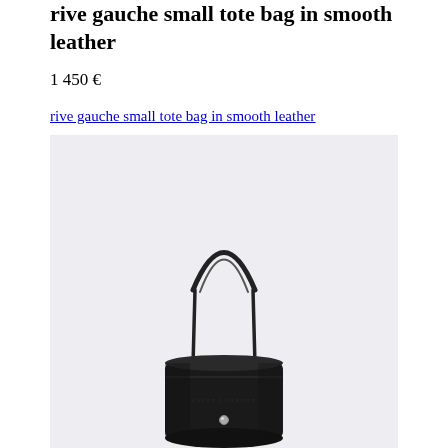rive gauche small tote bag in smooth leather
1 450 €
rive gauche small tote bag in smooth leather
[Figure (photo): Black rive gauche small tote bag in smooth leather with a round/cylindrical shape, top handle, and silver hardware, photographed on a light grey background.]